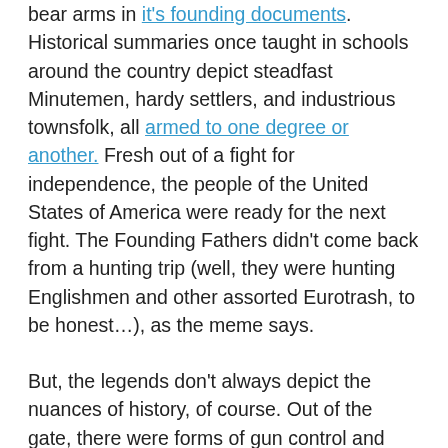bear arms in it's founding documents. Historical summaries once taught in schools around the country depict steadfast Minutemen, hardy settlers, and industrious townsfolk, all armed to one degree or another. Fresh out of a fight for independence, the people of the United States of America were ready for the next fight. The Founding Fathers didn't come back from a hunting trip (well, they were hunting Englishmen and other assorted Eurotrash, to be honest…), as the meme says.
But, the legends don't always depict the nuances of history, of course. Out of the gate, there were forms of gun control and restrictions on carry in the United States. If you were a slave, Native, or even a free black person - the Second Amendment didn't apply to you. The revolutionaries didn't want a slave revolt on their hands, basically.
As time went on, states and counties enacted gun control laws - some outwardly racist, others less obviously so. After the Civil War and the abolition of slavery, the tone